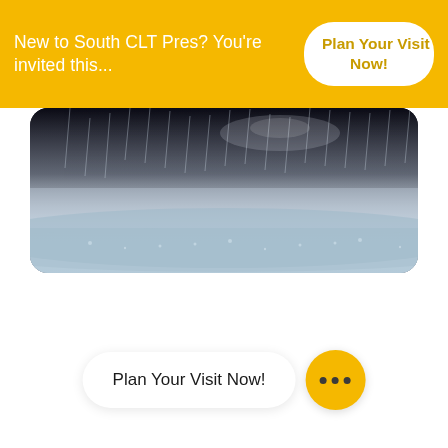New to South CLT Pres? You're invited this...
Plan Your Visit Now!
[Figure (photo): Aerial or wide-angle photo of a rainy, stormy scene with rain falling over a dark outdoor area, water and mist visible, dark sky in the background.]
Plan Your Visit Now!